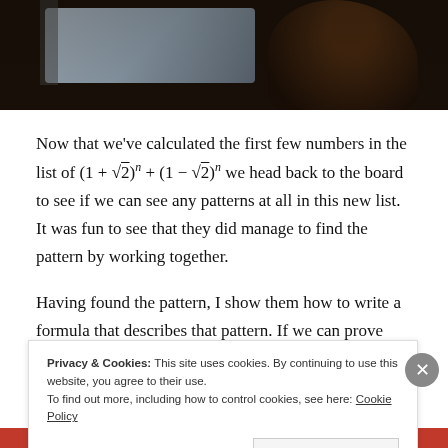[Figure (photo): A dark photograph showing a hand/finger and what appears to be a whiteboard or screen in the background with a light-colored area.]
Now that we've calculated the first few numbers in the list of (1 + √2)ⁿ + (1 − √2)ⁿ we head back to the board to see if we can see any patterns at all in this new list. It was fun to see that they did manage to find the pattern by working together.
Having found the pattern, I show them how to write a formula that describes that pattern. If we can prove that
Privacy & Cookies: This site uses cookies. By continuing to use this website, you agree to their use.
To find out more, including how to control cookies, see here: Cookie Policy
Close and accept